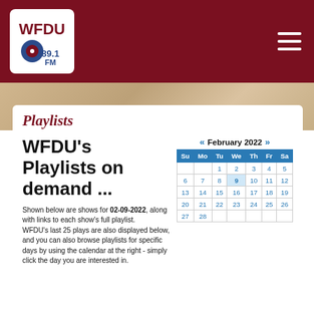WFDU 89.1FM
Playlists
WFDU's Playlists on demand ...
Shown below are shows for 02-09-2022, along with links to each show's full playlist. WFDU's last 25 plays are also displayed below, and you can also browse playlists for specific days by using the calendar at the right - simply click the day you are interested in.
| Su | Mo | Tu | We | Th | Fr | Sa |
| --- | --- | --- | --- | --- | --- | --- |
|  |  | 1 | 2 | 3 | 4 | 5 |
| 6 | 7 | 8 | 9 | 10 | 11 | 12 |
| 13 | 14 | 15 | 16 | 17 | 18 | 19 |
| 20 | 21 | 22 | 23 | 24 | 25 | 26 |
| 27 | 28 |  |  |  |  |  |